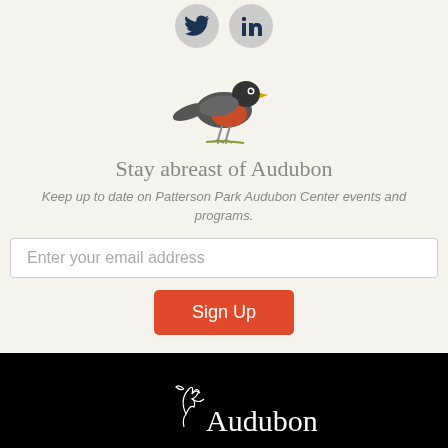[Figure (illustration): Two social media icons (Twitter bird and LinkedIn logo) in circular gray buttons at top center]
[Figure (illustration): Illustration of a robin bird (American Robin) standing on grass, facing left, with gray body, orange-red breast and yellow beak]
Stay abreast of Audubon
Keep up to date on Patterson Park Audubon Center events and programs.
Enter your email address
Sign Up
[Figure (logo): Audubon Society logo in white: stylized bird/plant sketch with 'Audubon' text in serif font, on black background]
Patterson Park Audubon Center
Our mission is to conserve and restore natural ecosystems.